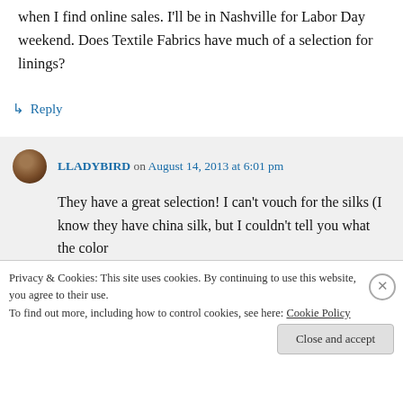when I find online sales. I'll be in Nashville for Labor Day weekend. Does Textile Fabrics have much of a selection for linings?
↳ Reply
LLADYBIRD on August 14, 2013 at 6:01 pm
They have a great selection! I can't vouch for the silks (I know they have china silk, but I couldn't tell you what the color
Privacy & Cookies: This site uses cookies. By continuing to use this website, you agree to their use. To find out more, including how to control cookies, see here: Cookie Policy
Close and accept